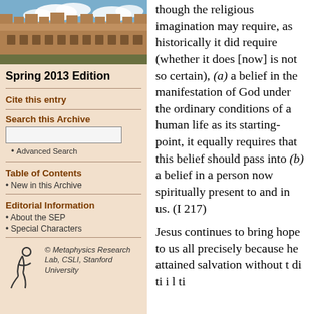[Figure (photo): Photo of a historic university building (likely Oxford or similar) with gothic architecture, stone facade, and blue sky with clouds.]
Spring 2013 Edition
Cite this entry
Search this Archive
Advanced Search
Table of Contents
New in this Archive
Editorial Information
About the SEP
Special Characters
[Figure (logo): Metaphysics Research Lab logo with a stylized figure and text reading: © Metaphysics Research Lab, CSLI, Stanford University]
though the religious imagination may require, as historically it did require (whether it does [now] is not so certain), (a) a belief in the manifestation of God under the ordinary conditions of a human life as its starting-point, it equally requires that this belief should pass into (b) a belief in a person now spiritually present to and in us. (I 217)
Jesus continues to bring hope to us all precisely because he attained salvation without t di ti i l ti